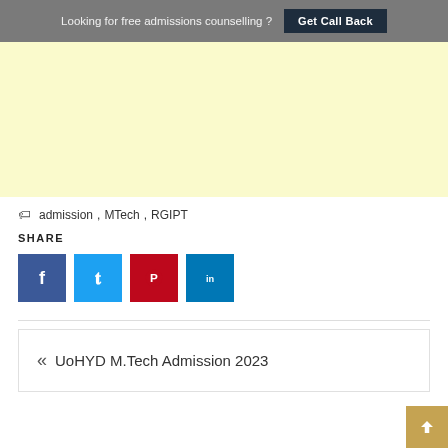Looking for free admissions counselling ? Get Call Back
[Figure (other): Yellow advertisement banner area]
admission, MTech, RGIPT
SHARE
[Figure (infographic): Social share buttons: Facebook (blue), Twitter (light blue), Pinterest (red), LinkedIn (teal)]
« UoHYD M.Tech Admission 2023